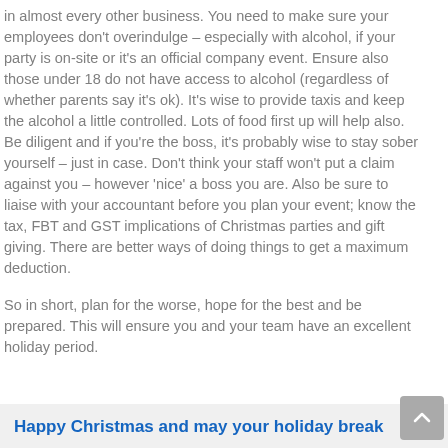in almost every other business.  You need to make sure your employees don't overindulge – especially with alcohol, if your party is on-site or it's an official company event.  Ensure also those under 18 do not have access to alcohol (regardless of whether parents say it's ok).  It's wise to provide taxis and keep the alcohol a little controlled.  Lots of food first up will help also.  Be diligent and if you're the boss, it's probably wise to stay sober yourself – just in case.  Don't think your staff won't put a claim against you – however 'nice' a boss you are.  Also be sure to liaise with your accountant before you plan your event; know the tax, FBT and GST implications of Christmas parties and gift giving.  There are better ways of doing things to get a maximum deduction.
So in short, plan for the worse, hope for the best and be prepared.  This will ensure you and your team have an excellent holiday period.
Happy Christmas and may your holiday break